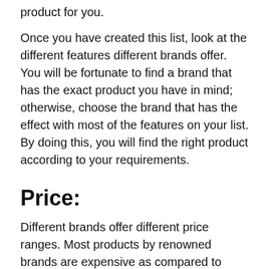product for you.
Once you have created this list, look at the different features different brands offer. You will be fortunate to find a brand that has the exact product you have in mind; otherwise, choose the brand that has the effect with most of the features on your list. By doing this, you will find the right product according to your requirements.
Price:
Different brands offer different price ranges. Most products by renowned brands are expensive as compared to newly established brands. Many users test the quality of famous brands, so you can trust that their